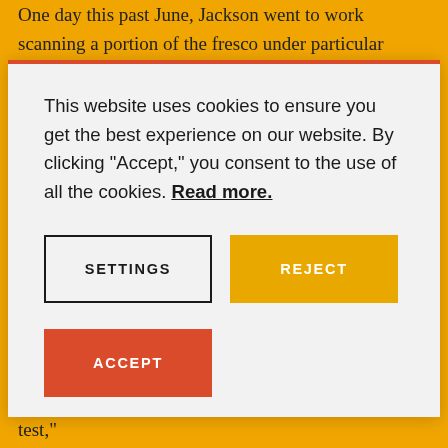One day this past June, Jackson went to work scanning a portion of the fresco under particular scrutiny: the body of
[Figure (screenshot): Cookie consent modal dialog with orange/red top border on a light gray background. Contains cookie notice text, a SETTINGS button with black border, a REJECT button with yellow/gold background, and an ACCEPT button with red/orange background.]
and asking them what they saw—“like a Rorschach test,”